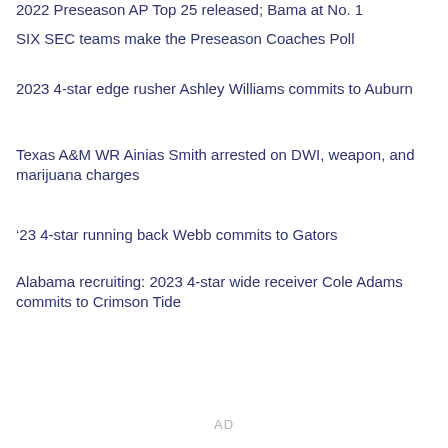2022 Preseason AP Top 25 released; Bama at No. 1
SIX SEC teams make the Preseason Coaches Poll
2023 4-star edge rusher Ashley Williams commits to Auburn
Texas A&M WR Ainias Smith arrested on DWI, weapon, and marijuana charges
’23 4-star running back Webb commits to Gators
Alabama recruiting: 2023 4-star wide receiver Cole Adams commits to Crimson Tide
AD